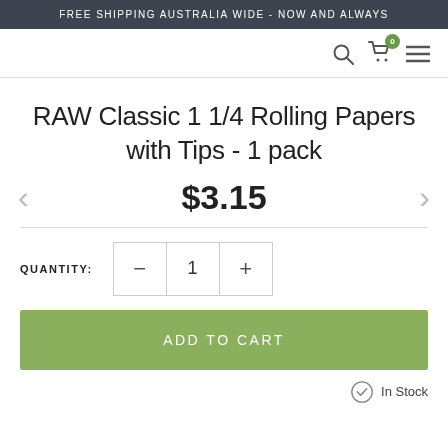FREE SHIPPING AUSTRALIA WIDE - NOW AND ALWAYS
RAW Classic 1 1/4 Rolling Papers with Tips - 1 pack
$3.15
QUANTITY: 1
ADD TO CART
In Stock